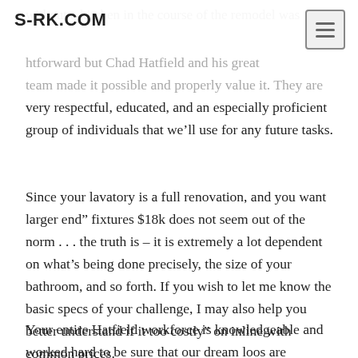S-RK.COM
without a kitchen in the course of the remodel was straightforward but Chad Hatfield and his great team made it possible and properly value it. They are very respectful, educated, and an especially proficient group of individuals that we'll use for any future tasks.
Since your lavatory is a full renovation, and you want larger end” fixtures $18k does not seem out of the norm . . . the truth is – it is extremely a lot dependent on what’s being done precisely, the size of your bathroom, and so forth. If you wish to let me know the basic specs of your challenge, I may also help you better understand if it too costly” on inline with common prices.
Your entire Hatfield workforce is knowledgeable and worked hard to be sure that our dream loos are